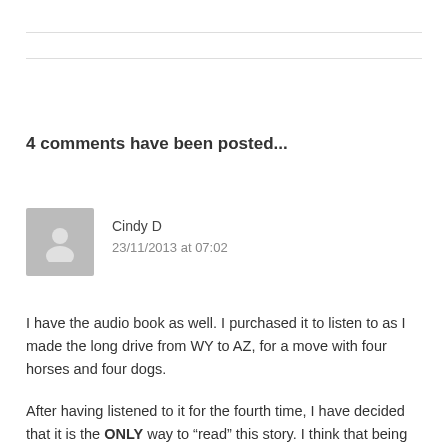4 comments have been posted...
Cindy D
23/11/2013 at 07:02
I have the audio book as well. I purchased it to listen to as I made the long drive from WY to AZ, for a move with four horses and four dogs.
After having listened to it for the fourth time, I have decided that it is the ONLY way to “read” this story. I think that being